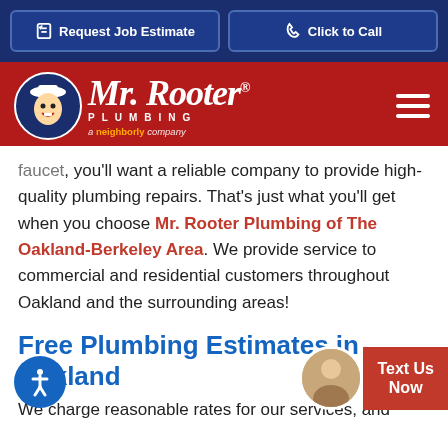[Figure (screenshot): Website header with two blue buttons: 'Request Job Estimate' and 'Click to Call']
[Figure (logo): Mr. Rooter Plumbing logo with mascot character on red background, hamburger menu icon, and 'a neighborly company' tagline]
faucet, you'll want a reliable company to provide high-quality plumbing repairs. That's just what you'll get when you choose Mr. Rooter Plumbing of The Oakland-Berkeley Area. We provide service to commercial and residential customers throughout Oakland and the surrounding areas!
Free Plumbing Estimates in Oakland
We charge reasonable rates for our services, and